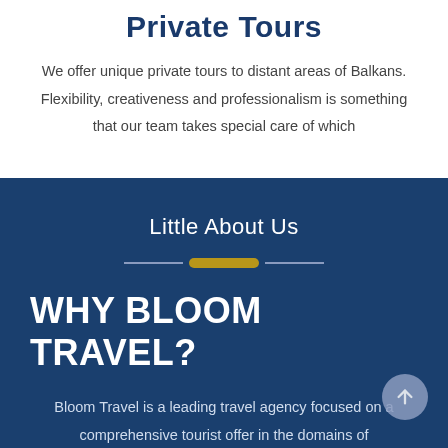Private Tours
We offer unique private tours to distant areas of Balkans. Flexibility, creativeness and professionalism is something that our team takes special care of which
Little About Us
WHY BLOOM TRAVEL?
Bloom Travel is a leading travel agency focused on a comprehensive tourist offer in the domains of